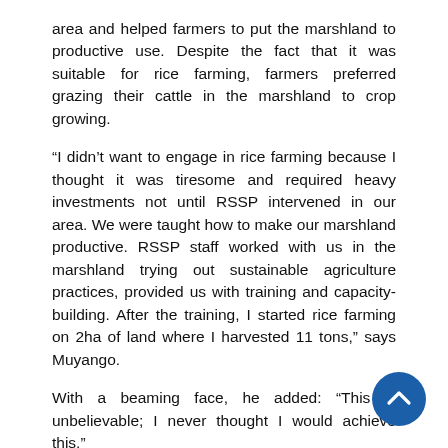area and helped farmers to put the marshland to productive use. Despite the fact that it was suitable for rice farming, farmers preferred grazing their cattle in the marshland to crop growing.
“I didn’t want to engage in rice farming because I thought it was tiresome and required heavy investments not until RSSP intervened in our area. We were taught how to make our marshland productive. RSSP staff worked with us in the marshland trying out sustainable agriculture practices, provided us with training and capacity-building. After the training, I started rice farming on 2ha of land where I harvested 11 tons,” says Muyango.
With a beaming face, he added: “This is unbelievable; I never thought I would achieve this.”
Muyango has recorded significant achievements after implementing RSSP sustainable agriculture practices. He has bought three Friesian cows worth Rwf300, 000 each. He has one cow that produces food for feeding children...